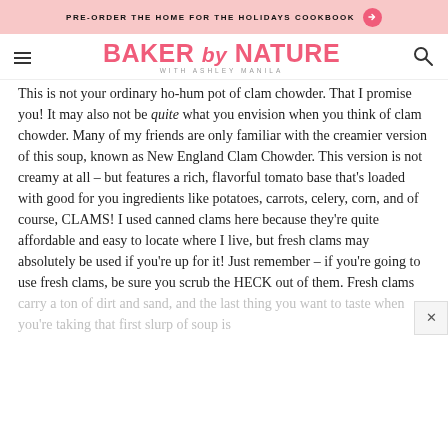PRE-ORDER THE HOME FOR THE HOLIDAYS COOKBOOK →
BAKER by NATURE WITH ASHLEY MANILA
This is not your ordinary ho-hum pot of clam chowder. That I promise you! It may also not be quite what you envision when you think of clam chowder. Many of my friends are only familiar with the creamier version of this soup, known as New England Clam Chowder. This version is not creamy at all – but features a rich, flavorful tomato base that's loaded with good for you ingredients like potatoes, carrots, celery, corn, and of course, CLAMS! I used canned clams here because they're quite affordable and easy to locate where I live, but fresh clams may absolutely be used if you're up for it! Just remember – if you're going to use fresh clams, be sure you scrub the HECK out of them. Fresh clams carry a ton of dirt and sand, and the last thing you want to taste when you're taking that first slurp of soup is